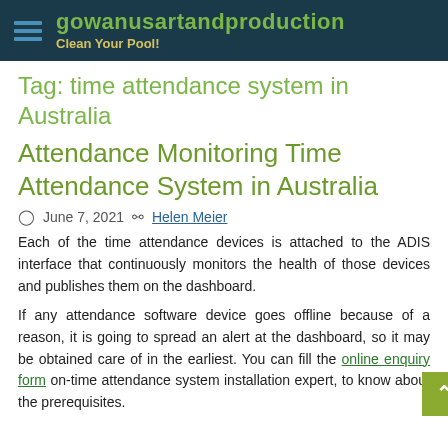gowanusartandproduction — Clean Your Pool!
Tag: time attendance system in Australia
Attendance Monitoring Time Attendance System in Australia
June 7, 2021  Helen Meier
Each of the time attendance devices is attached to the ADIS interface that continuously monitors the health of those devices and publishes them on the dashboard.
If any attendance software device goes offline because of a reason, it is going to spread an alert at the dashboard, so it may be obtained care of in the earliest. You can fill the online enquiry form on-time attendance system installation expert, to know about the prerequisites.